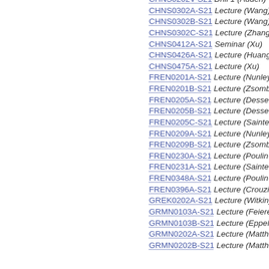CHNS0202V-S21 Drill 1 (Auden)
CHNS0302A-S21 Lecture (Wang)
CHNS0302B-S21 Lecture (Wang)
CHNS0302C-S21 Lecture (Zhang,
CHNS0412A-S21 Seminar (Xu)
CHNS0426A-S21 Lecture (Huang)
CHNS0475A-S21 Lecture (Xu)
FREN0201A-S21 Lecture (Nunley)
FREN0201B-S21 Lecture (Zsombo
FREN0205A-S21 Lecture (Dessein
FREN0205B-S21 Lecture (Dessein
FREN0205C-S21 Lecture (Sainte-C
FREN0209A-S21 Lecture (Nunley)
FREN0209B-S21 Lecture (Zsombo
FREN0230A-S21 Lecture (Poulin-D
FREN0231A-S21 Lecture (Sainte-C
FREN0348A-S21 Lecture (Poulin-D
FREN0396A-S21 Lecture (Crouzie
GREK0202A-S21 Lecture (Witkin)
GRMN0103A-S21 Lecture (Feierei
GRMN0103B-S21 Lecture (Eppelsh
GRMN0202A-S21 Lecture (Matthia
GRMN0202B-S21 Lecture (Matthia